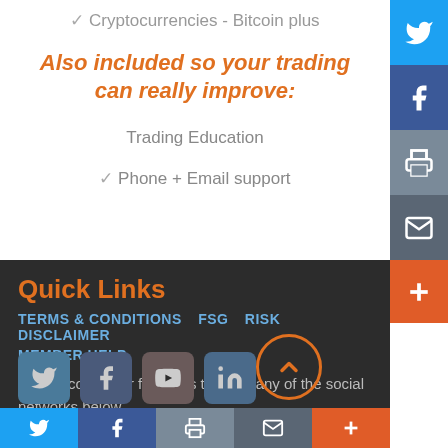✓ Cryptocurrencies - Bitcoin plus
Also included so your trading can really improve:
Trading Education
✓ Phone + Email support
Quick Links
TERMS & CONDITIONS   FSG   RISK DISCLAIMER   MEMBER HELP
Please contact or follow us through any of the social networks below.